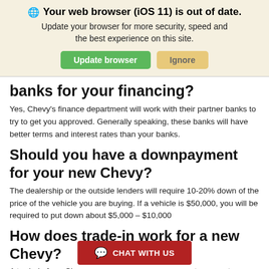[Figure (screenshot): Browser update notification banner with globe icon, bold title 'Your web browser (iOS 11) is out of date.', subtitle text, and two buttons: 'Update browser' (green) and 'Ignore' (tan/yellow)]
banks for your financing?
Yes, Chevy's finance department will work with their partner banks to try to get you approved. Generally speaking, these banks will have better terms and interest rates than your banks.
Should you have a downpayment for your new Chevy?
The dealership or the outside lenders will require 10-20% down of the price of the vehicle you are buying. If a vehicle is $50,000, you will be required to put down about $5,000 – $10,000
How does trade-in work for a new Chevy?
A trade-in for a Chevy ... [payment on your...]
[Figure (screenshot): Red 'CHAT WITH US' button with speech bubble icon at the bottom of the page]